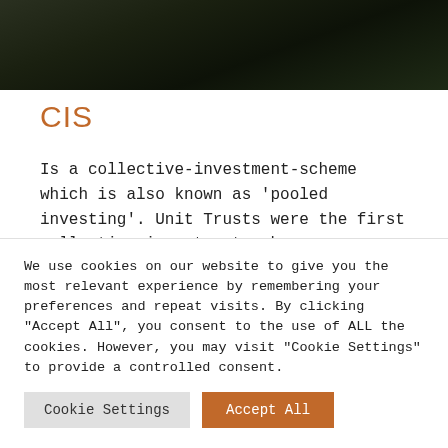[Figure (photo): Dark forest/nature image at the top of the page]
CIS
Is a collective-investment-scheme which is also known as 'pooled investing'. Unit Trusts were the first collective-investment-scheme.
[Figure (photo): Misty mountain landscape image]
We use cookies on our website to give you the most relevant experience by remembering your preferences and repeat visits. By clicking "Accept All", you consent to the use of ALL the cookies. However, you may visit "Cookie Settings" to provide a controlled consent.